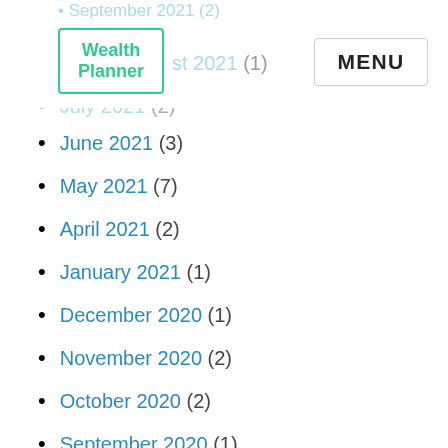Wealth Planner | MENU
September 2021 (2)
August 2021 (1)
July 2021 (2)
June 2021 (3)
May 2021 (7)
April 2021 (2)
January 2021 (1)
December 2020 (1)
November 2020 (2)
October 2020 (2)
September 2020 (1)
August 2020 (3)
July 2020 (1)
May 2020 (1)
April 2020 (8)
March 2020 (5)
February 2020 (5)